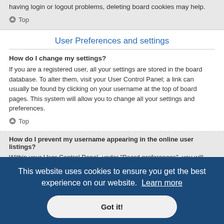you enabling it; they have been enabled by a board administrator. If you are having login or logout problems, deleting board cookies may help.
Top
User Preferences and settings
How do I change my settings?
If you are a registered user, all your settings are stored in the board database. To alter them, visit your User Control Panel; a link can usually be found by clicking on your username at the top of board pages. This system will allow you to change all your settings and preferences.
Top
How do I prevent my username appearing in the online user listings?
Within your User Control Panel, under “Board preferences”, you will find the option ... ear to the ... en user.
This website uses cookies to ensure you get the best experience on our website. Learn more
Got it!